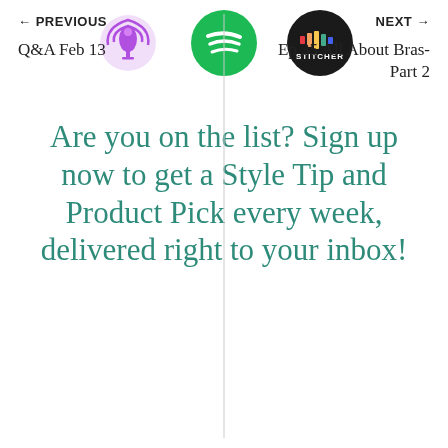[Figure (logo): Three podcast platform logos: Apple Podcasts (purple microphone icon), Spotify (green circle with sound waves), Stitcher (dark circle with Stitcher logo)]
Are you on the list? Sign up now to get a Style Tip and Product Pick every week, delivered right to your inbox!
← PREVIOUS
Q&A Feb 13
NEXT →
Ep 35 All About Bras- Part 2